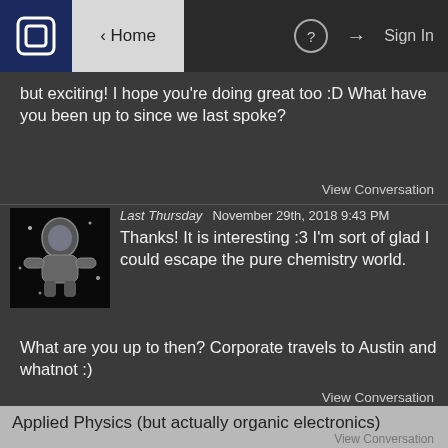Home  |  (?)  |  Sign In
but exciting! I hope you're doing great too :D What have you been up to since we last spoke?
View Conversation
Last Thursday   November 29th, 2018 9:43 PM
Thanks! It is interesting :3 I'm sort of glad I could escape the pure chemistry world.

What are you up to then? Corporate travels to Austin and whatnot :)
View Conversation
Last Thursday   November 18th, 2018 1:20 AM
Applied Physics (but actually organic electronics)
View Conversation